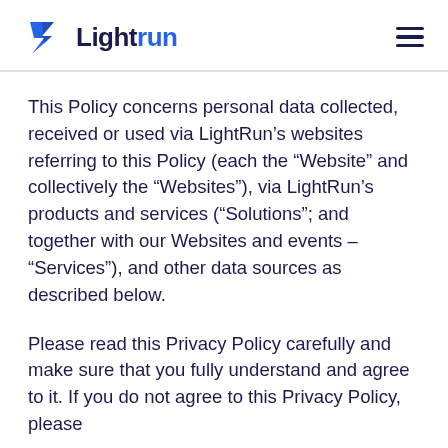Lightrun
This Policy concerns personal data collected, received or used via LightRun’s websites referring to this Policy (each the “Website” and collectively the “Websites”), via LightRun’s products and services (“Solutions”; and together with our Websites and events – “Services”), and other data sources as described below.
Please read this Privacy Policy carefully and make sure that you fully understand and agree to it. If you do not agree to this Privacy Policy, please